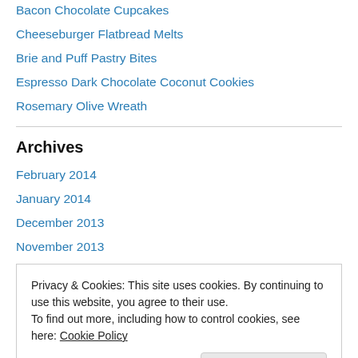Bacon Chocolate Cupcakes
Cheeseburger Flatbread Melts
Brie and Puff Pastry Bites
Espresso Dark Chocolate Coconut Cookies
Rosemary Olive Wreath
Archives
February 2014
January 2014
December 2013
November 2013
Privacy & Cookies: This site uses cookies. By continuing to use this website, you agree to their use.
To find out more, including how to control cookies, see here: Cookie Policy
Close and accept
March 2013